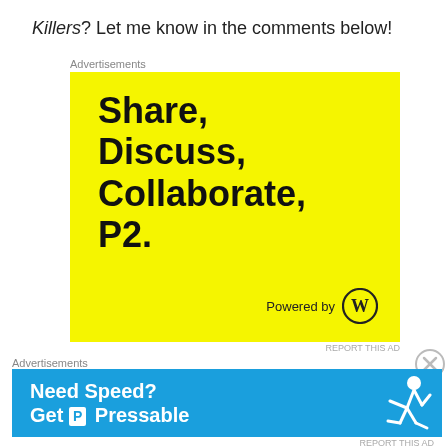Killers? Let me know in the comments below!
[Figure (illustration): Yellow background advertisement for P2 by WordPress. Large bold black text reads: Share, Discuss, Collaborate, P2. Bottom right shows 'Powered by' with WordPress logo.]
Take care and see ya real soon!
[Figure (illustration): Blue banner advertisement: 'Need Speed? Get P Pressable' with a running person graphic in white on blue background.]